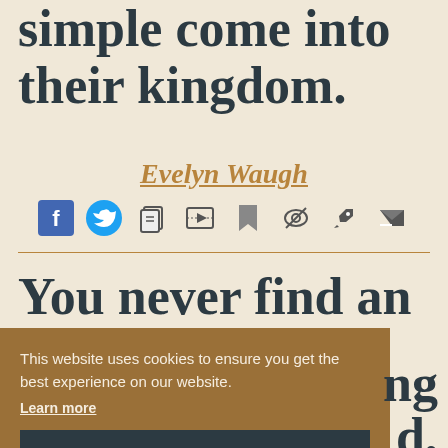simple come into their kingdom.
Evelyn Waugh
[Figure (other): Row of social/action icons: Facebook, Twitter, Copy, Video, Bookmark, Hide, Edit/Pen, Flag]
You never find an
This website uses cookies to ensure you get the best experience on our website.
Learn more
Got it!
ng
d,